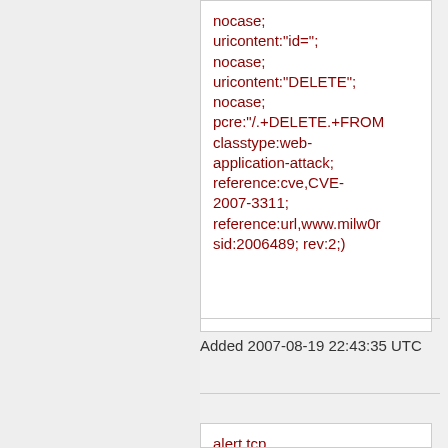nocase; uricontent:"id="; nocase; uricontent:"DELETE"; nocase; pcre:"/.+DELETE.+FROM classtype:web-application-attack; reference:cve,CVE-2007-3311; reference:url,www.milw0r sid:2006489; rev:2;)
Added 2007-08-19 22:43:35 UTC
alert tcp $EXTERNAL_NET any -> $HTTP_SERVERS